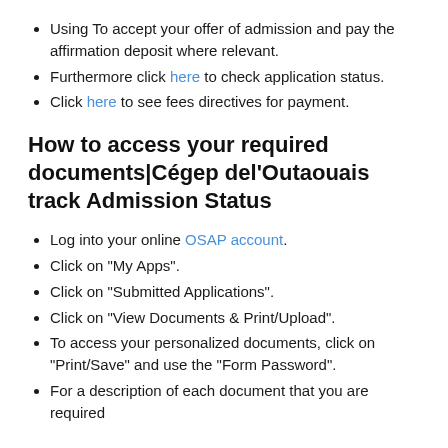Using To accept your offer of admission and pay the affirmation deposit where relevant.
Furthermore click here to check application status.
Click here to see fees directives for payment.
How to access your required documents|Cégep del'Outaouais track Admission Status
Log into your online OSAP account.
Click on “My Apps”.
Click on “Submitted Applications”.
Click on “View Documents & Print/Upload”.
To access your personalized documents, click on “Print/Save” and use the “Form Password”.
For a description of each document that you are required